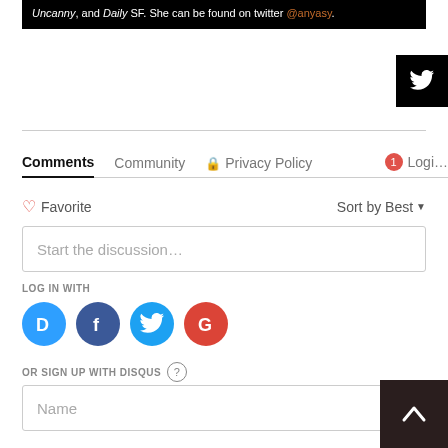Uncanny, and Daily SF. She can be found on twitter @anyasy.
Comments  Community  Privacy Policy  Login
Favorite  Sort by Best
Start the discussion...
LOG IN WITH
[Figure (logo): Social login icons: Disqus (D), Facebook (f), Twitter bird, Google (G)]
OR SIGN UP WITH DISQUS ?
Name